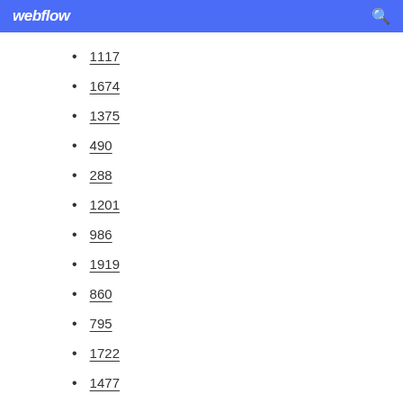webflow
1117
1674
1375
490
288
1201
986
1919
860
795
1722
1477